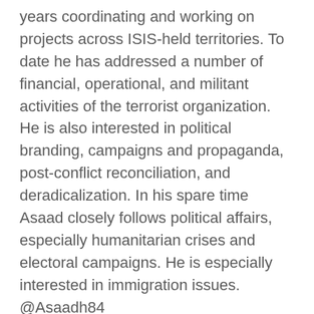years coordinating and working on projects across ISIS-held territories. To date he has addressed a number of financial, operational, and militant activities of the terrorist organization. He is also interested in political branding, campaigns and propaganda, post-conflict reconciliation, and deradicalization. In his spare time Asaad closely follows political affairs, especially humanitarian crises and electoral campaigns. He is especially interested in immigration issues. @Asaadh84
Anne Speckhard, Ph.D. is Adjunct Associate Professor of Psychiatry at Georgetown